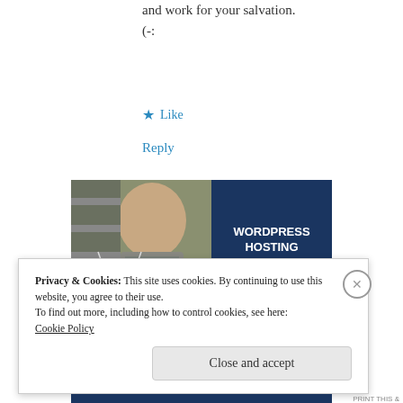and work for your salvation.
(-:
★ Like
Reply
[Figure (photo): Advertisement banner for WordPress hosting showing a smiling woman holding an OPEN sign on the left (photo portion) and dark navy blue background with text 'WORDPRESS HOSTING THAT MEANS BUSINESS.' on the right.]
Privacy & Cookies: This site uses cookies. By continuing to use this website, you agree to their use.
To find out more, including how to control cookies, see here:
Cookie Policy
Close and accept